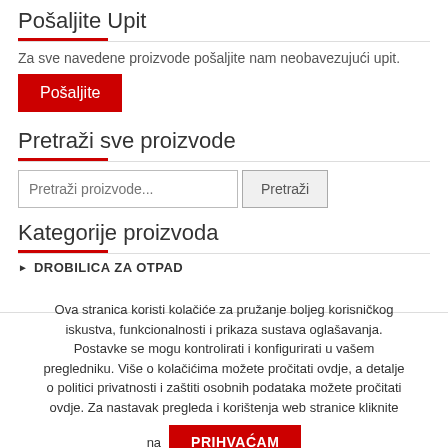Pošaljite Upit
Za sve navedene proizvode pošaljite nam neobavezujući upit.
Pošaljite
Pretraži sve proizvode
Pretraži proizvode...
DROBILICA ZA OTPAD
Ova stranica koristi kolačiće za pružanje boljeg korisničkog iskustva, funkcionalnosti i prikaza sustava oglašavanja. Postavke se mogu kontrolirati i konfigurirati u vašem pregledniku. Više o kolačićima možete pročitati ovdje, a detalje o politici privatnosti i zaštiti osobnih podataka možete pročitati ovdje. Za nastavak pregleda i korištenja web stranice kliknite na PRIHVAĆAM